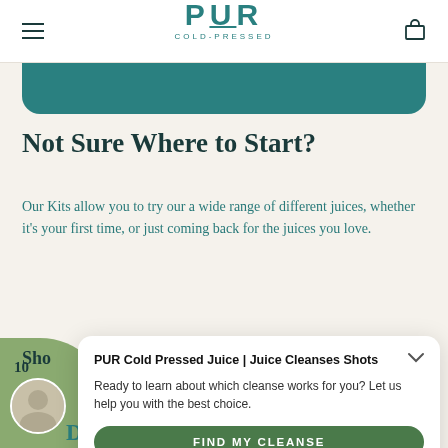PUR COLD-PRESSED
[Figure (logo): PUR COLD-PRESSED logo in teal]
Not Sure Where to Start?
Our Kits allow you to try our a wide range of different juices, whether it's your first time, or just coming back for the juices you love.
PUR Cold Pressed Juice | Juice Cleanses Shots
Ready to learn about which cleanse works for you? Let us help you with the best choice.
FIND MY CLEANSE